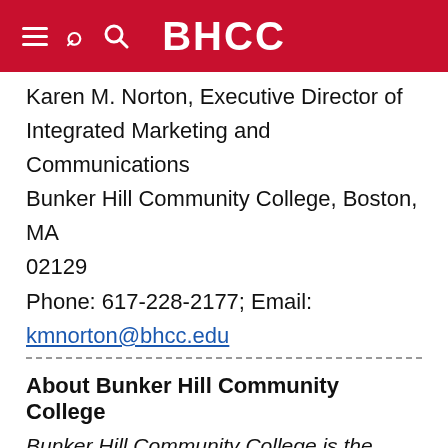BHCC
Karen M. Norton, Executive Director of Integrated Marketing and Communications Bunker Hill Community College, Boston, MA 02129 Phone: 617-228-2177; Email: kmnorton@bhcc.edu
About Bunker Hill Community College
Bunker Hill Community College is the largest community college in Massachusetts, enrolling approximately 18,000 students annually. BHCC has two campuses in Charlestown and Chelsea, and a number of other locations throughout the Greater